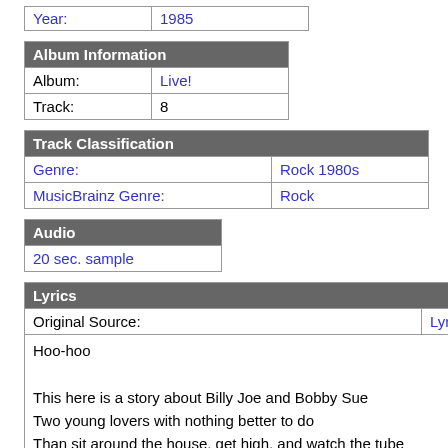| Year: | 1985 |
| --- | --- |
| Album Information |
| --- |
| Album: | Live! |
| Track: | 8 |
| Track Classification |
| --- |
| Genre: | Rock 1980s |
| MusicBrainz Genre: | Rock |
| Audio |
| --- |
| 20 sec. sample |
| Lyrics |
| --- |
| Original Source: | LyricWiki |
| Hoo-hoo

This here is a story about Billy Joe and Bobby Sue
Two young lovers with nothing better to do
Than sit around the house, get high, and watch the tube
And here's what happened when they decided to cut loose |  |